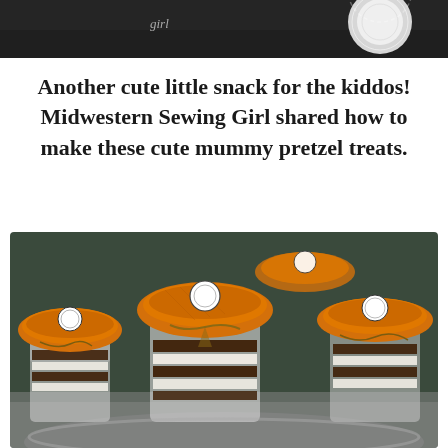[Figure (photo): Partial photo showing top of a dark background with text 'girl' and a white doily visible on the right side]
Another cute little snack for the kiddos! Midwestern Sewing Girl shared how to make these cute mummy pretzel treats.
[Figure (photo): Photo of several small glass jars filled with layered chocolate and cream treats, topped with orange burlap fabric tied with twine and circular labels, arranged on a silver tray]